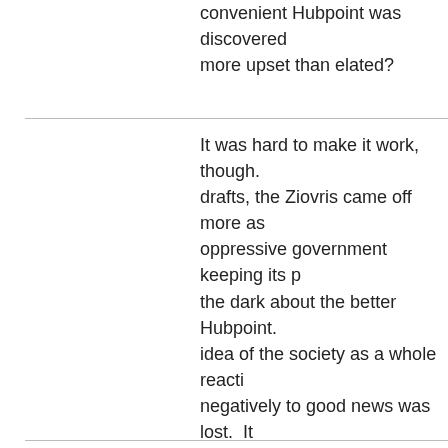convenient Hubpoint was discovered more upset than elated?
It was hard to make it work, though. drafts, the Ziovris came off more as oppressive government keeping its people in the dark about the better Hubpoint. idea of the society as a whole reacting negatively to good news was lost.  It was only when I recaptured that idea that I decided the story was ready.  In the final version, the Ziovris are not so much an oppressed people as a very regimented people.  Their dialogue is written to suggest that they simply don't acknowledge the reality of things outside their rigid expectations and formulas.